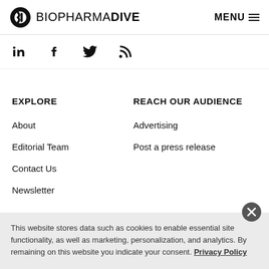BIOPHARMA DIVE  MENU
[Figure (other): Social media icons: LinkedIn, Facebook, Twitter, RSS feed]
EXPLORE
REACH OUR AUDIENCE
About
Advertising
Editorial Team
Post a press release
Contact Us
Newsletter
RELATED PUBLICATIONS
This website stores data such as cookies to enable essential site functionality, as well as marketing, personalization, and analytics. By remaining on this website you indicate your consent. Privacy Policy